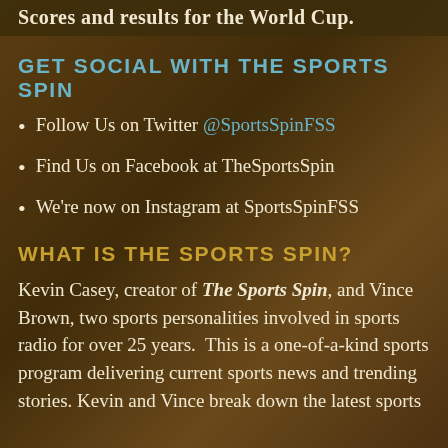Scores and results for the World Cup.
GET SOCIAL WITH THE SPORTS SPIN
Follow Us on Twitter @SportsSpinFSS
Find Us on Facebook at TheSportsSpin
We're now on Instagram at SportsSpinFSS
WHAT IS THE SPORTS SPIN?
Kevin Casey, creator of The Sports Spin, and Vince Brown, two sports personalities involved in sports radio for over 25 years.  This is a one-of-a-kind sports program delivering current sports news and trending stories. Kevin and Vince break down the latest sports